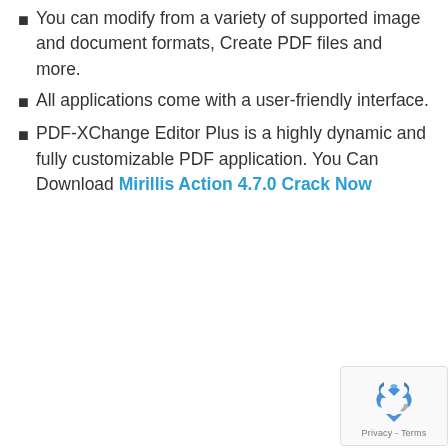You can modify from a variety of supported image and document formats, Create PDF files and more.
All applications come with a user-friendly interface.
PDF-XChange Editor Plus is a highly dynamic and fully customizable PDF application. You Can Download Mirillis Action 4.7.0 Crack Now
[Figure (other): reCAPTCHA badge with recycling-arrow logo and Privacy - Terms text]